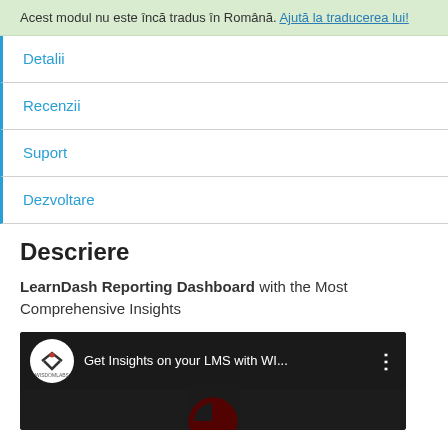Acest modul nu este încă tradus în Română. Ajută la traducerea lui!
Detalii
Recenzii
Suport
Dezvoltare
Descriere
LearnDash Reporting Dashboard with the Most Comprehensive Insights
[Figure (screenshot): YouTube video thumbnail showing 'Get Insights on your LMS with WI...' with WisdomLabs logo]